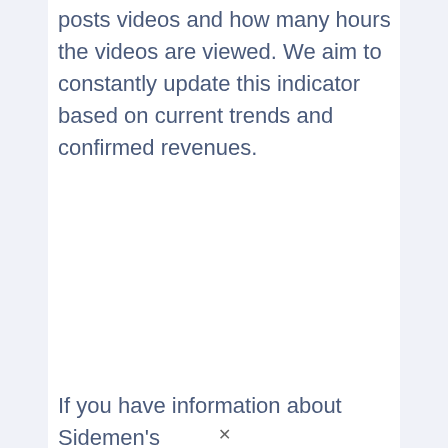posts videos and how many hours the videos are viewed. We aim to constantly update this indicator based on current trends and confirmed revenues.
If you have information about Sidemen's